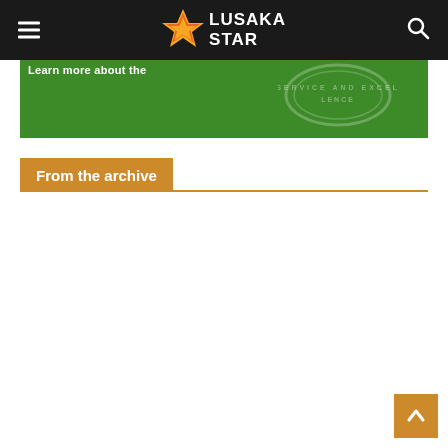Lusaka Star
[Figure (photo): Green banner image showing partial text 'SERVICE AND EXCELLENCE' with a circular logo/seal on a dark green background]
From the archive
[Figure (other): Back to top button arrow icon, orange square with white upward arrow]